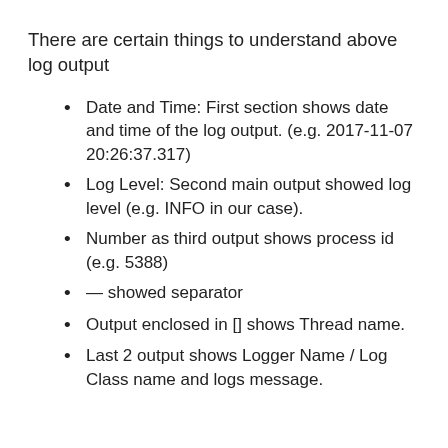There are certain things to understand above log output
Date and Time: First section shows date and time of the log output. (e.g. 2017-11-07 20:26:37.317)
Log Level: Second main output showed log level (e.g. INFO in our case).
Number as third output shows process id (e.g. 5388)
— showed separator
Output enclosed in [] shows Thread name.
Last 2 output shows Logger Name / Log Class name and logs message.